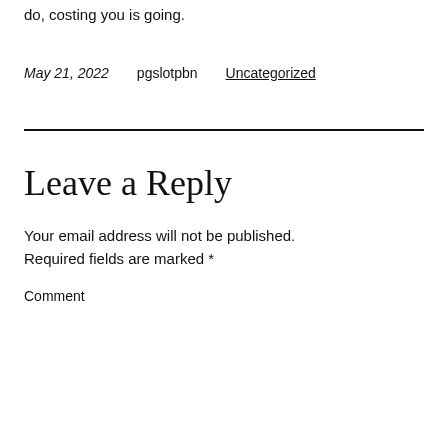do, costing you is going.
May 21, 2022   pgslotpbn   Uncategorized
Leave a Reply
Your email address will not be published. Required fields are marked *
Comment